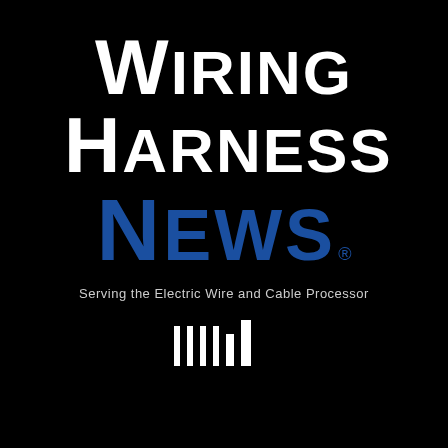[Figure (logo): Wiring Harness News logo with large bold white text for 'WIRING HARNESS' and blue bold text for 'NEWS' with registered trademark symbol, on a black background]
Serving the Electric Wire and Cable Processor
[Figure (other): Barcode graphic consisting of vertical white bars of varying heights on black background]